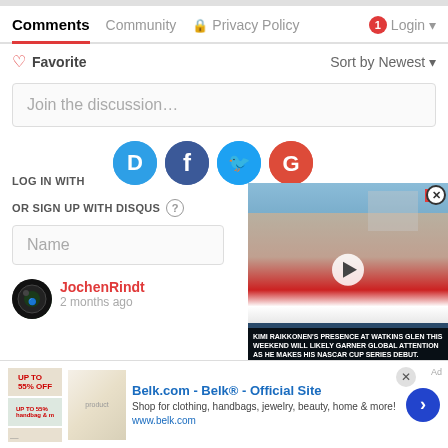Comments | Community | Privacy Policy | Login
♡ Favorite   Sort by Newest ▾
Join the discussion...
LOG IN WITH
[Figure (infographic): Social login icons: Disqus (D, blue speech bubble), Facebook (f, blue circle), Twitter (bird, light blue circle), Google (G, red circle)]
OR SIGN UP WITH DISQUS ?
Name
JochenRindt
2 months ago
[Figure (screenshot): Video thumbnail showing a racing driver (Kimi Raikkonen) with caption: KIMI RAIKKONEN'S PRESENCE AT WATKINS GLEN THIS WEEKEND WILL LIKELY GARNER GLOBAL ATTENTION AS HE MAKES HIS NASCAR CUP SERIES DEBUT. SI logo visible top right.]
[Figure (infographic): Advertisement for Belk.com - Belk Official Site. Shop for clothing, handbags, jewelry, beauty, home & more! www.belk.com]